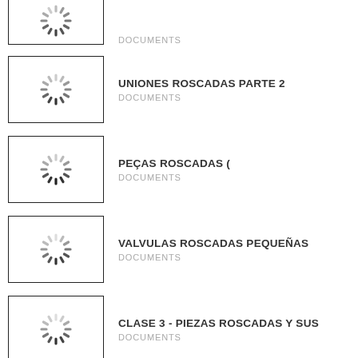DOCUMENTS
UNIONES ROSCADAS PARTE 2 · DOCUMENTS
PEÇAS ROSCADAS ( · DOCUMENTS
VALVULAS ROSCADAS PEQUEÑAS · DOCUMENTS
CLASE 3 - PIEZAS ROSCADAS Y SUS · DOCUMENTS
COPIA DE VÁLVULAS - PARA VALVULAS · DOCUMENTS